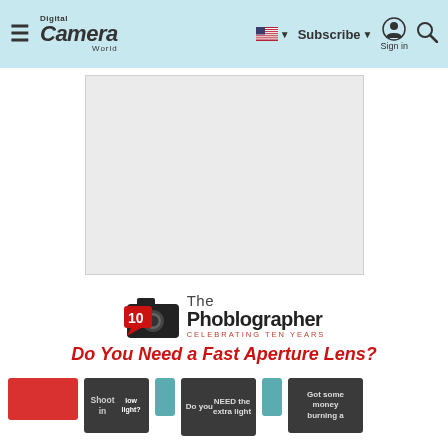Digital Camera World — Subscribe | Sign in | Search
[Figure (other): Advertisement placeholder rectangle with light gray background]
[Figure (logo): The Phoblographer logo — camera icon with '10' in red, text 'The Phoblographer' and 'CELEBRATING TEN YEARS']
Do You Need a Fast Aperture Lens?
[Figure (infographic): Bottom strip of dark and colored cards — a flowchart/decision steps including 'Shoot in', 'Do you NEED the extra light', 'Got some money burning a']